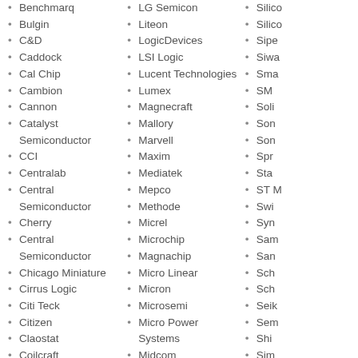Benchmarq
Bulgin
C&D
Caddock
Cal Chip
Cambion
Cannon
Catalyst Semiconductor
CCI
Centralab
Central Semiconductor
Cherry
Central Semiconductor
Chicago Miniature
Cirrus Logic
Citi Teck
Citizen
Claostat
Coilcraft
Coiltronics
Component General
Conexant
Connor
Cornell Dubilier
Cosmo
CP Clare
Curtis
Crystal Semiconductor
CTS
LG Semicon
Liteon
LogicDevices
LSI Logic
Lucent Technologies
Lumex
Magnecraft
Mallory
Marvell
Maxim
Mediatek
Mepco
Methode
Micrel
Microchip
Magnachip
Micro Linear
Micron
Microsemi
Micro Power Systems
Midcom
Mitel
Mitsubishi
Mini Circuits
MMI
Molex
Mosel
Motorola
Murata Erie
Silico
Silico
Sipe
Siwa
Sma
SM
Soli
Son
Son
Spr
Sta
ST M
Swi
Syn
Sam
San
Sch
Sch
Seik
Sem
Shi
Sim
Sulb
Sun
Sup
Sur
Sym
Sym
Trit